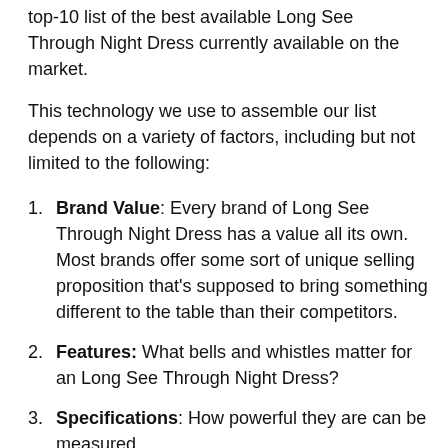top-10 list of the best available Long See Through Night Dress currently available on the market.
This technology we use to assemble our list depends on a variety of factors, including but not limited to the following:
Brand Value: Every brand of Long See Through Night Dress has a value all its own. Most brands offer some sort of unique selling proposition that's supposed to bring something different to the table than their competitors.
Features: What bells and whistles matter for an Long See Through Night Dress?
Specifications: How powerful they are can be measured.
Product Value: This simply is how much bang for the buck you get from your Long See Through Night